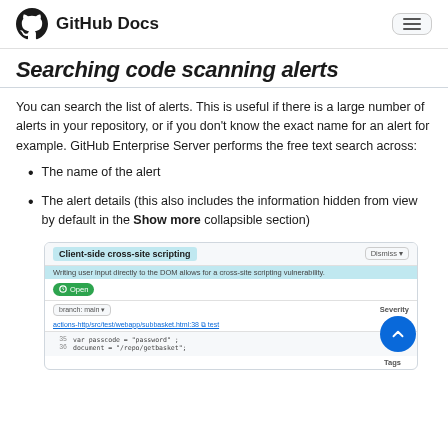GitHub Docs
Searching code scanning alerts
You can search the list of alerts. This is useful if there is a large number of alerts in your repository, or if you don't know the exact name for an alert for example. GitHub Enterprise Server performs the free text search across:
The name of the alert
The alert details (this also includes the information hidden from view by default in the Show more collapsible section)
[Figure (screenshot): Screenshot of a GitHub code scanning alert page showing 'Client-side cross-site scripting' alert highlighted in blue, with an Open badge, branch selector showing 'branch: main', a file path link, severity showing 'Error', and two lines of code.]